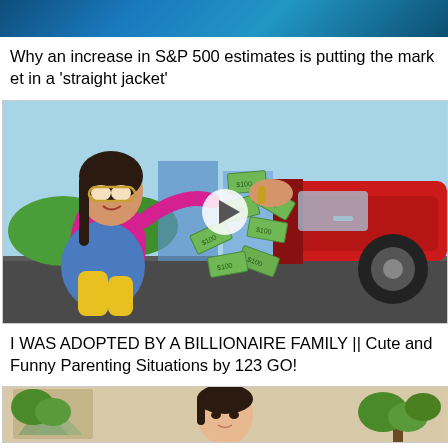[Figure (photo): Partial top image showing a dark blue/teal background, likely a financial news thumbnail]
Why an increase in S&P 500 estimates is putting the market in a 'straight jacket'
[Figure (photo): Thumbnail for a video: a young woman sitting on the ground in colorful clothes reaching toward flying dollar bills from a red luxury car, with a play button overlay]
I WAS ADOPTED BY A BILLIONAIRE FAMILY || Cute and Funny Parenting Situations by 123 GO!
[Figure (photo): Partial bottom image showing a person (woman) with plants and Asian art in background]